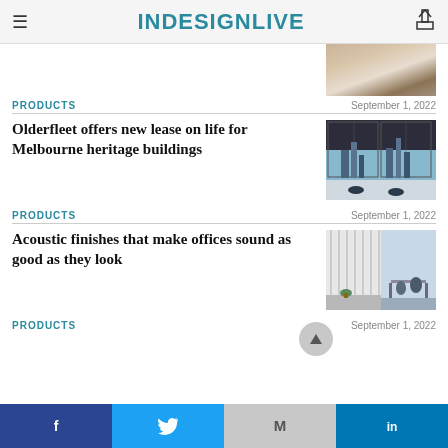INDESIGNLIVE
[Figure (photo): Partial cropped image of an interior space, top right, cut off at top]
PRODUCTS
September 1, 2022
Olderfleet offers new lease on life for Melbourne heritage buildings
[Figure (photo): Interior office space with floor-to-ceiling windows overlooking Melbourne city skyline, chairs and desks visible]
PRODUCTS
September 1, 2022
Acoustic finishes that make offices sound as good as they look
[Figure (photo): Split image: left side shows white vertical acoustic panels, right side shows a modern office interior with blue tones]
PRODUCTS
September 1, 2022
Facebook | Twitter | Gmail | LinkedIn